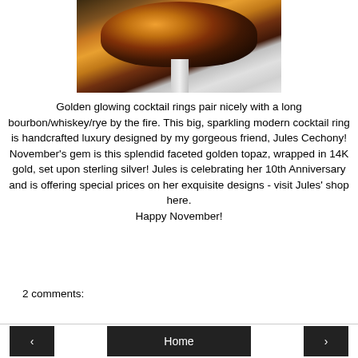[Figure (photo): Close-up photo of a golden topaz cocktail ring with a large faceted amber/brown gemstone set in gold, with a silver band, on a light grey background.]
Golden glowing cocktail rings pair nicely with a long bourbon/whiskey/rye by the fire. This big, sparkling modern cocktail ring is handcrafted luxury designed by my gorgeous friend, Jules Cechony! November's gem is this splendid faceted golden topaz, wrapped in 14K gold, set upon sterling silver! Jules is celebrating her 10th Anniversary and is offering special prices on her exquisite designs - visit Jules' shop here.
Happy November!
2 comments:
‹   Home   ›